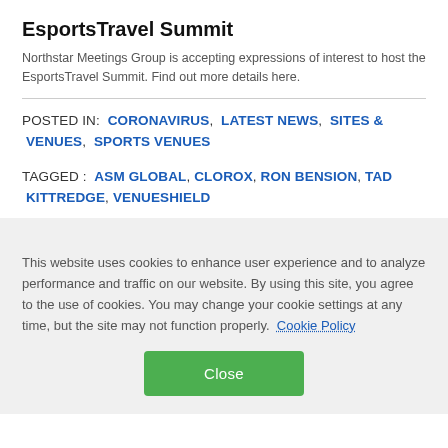EsportsTravel Summit
Northstar Meetings Group is accepting expressions of interest to host the EsportsTravel Summit. Find out more details here.
POSTED IN:  CORONAVIRUS,  LATEST NEWS,  SITES & VENUES,  SPORTS VENUES
TAGGED :  ASM GLOBAL,  CLOROX,  RON BENSION,  TAD KITTREDGE,  VENUESHIELD
This website uses cookies to enhance user experience and to analyze performance and traffic on our website. By using this site, you agree to the use of cookies. You may change your cookie settings at any time, but the site may not function properly.  Cookie Policy
Close